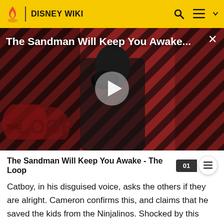DISNEY WIKI
[Figure (screenshot): Video thumbnail showing a dark-cloaked figure holding a raven against a red and black diagonal striped background. Title overlay reads 'The Sandman Will Keep You Awake...' with a play button in the center and 'THE LOOP' watermark in lower left.]
The Sandman Will Keep You Awake - The Loop
Catboy, in his disguised voice, asks the others if they are alright. Cameron confirms this, and claims that he saved the kids from the Ninjalinos. Shocked by this statement,